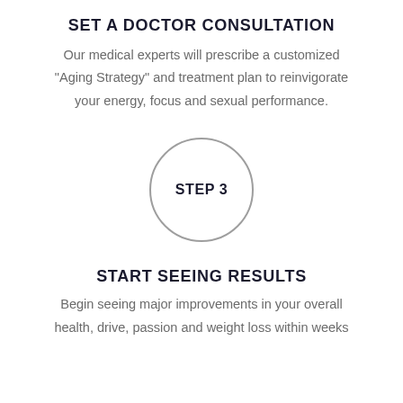SET A DOCTOR CONSULTATION
Our medical experts will prescribe a customized “Aging Strategy” and treatment plan to reinvigorate your energy, focus and sexual performance.
[Figure (infographic): A circle with the text STEP 3 inside it, rendered as a step indicator graphic.]
START SEEING RESULTS
Begin seeing major improvements in your overall health, drive, passion and weight loss within weeks